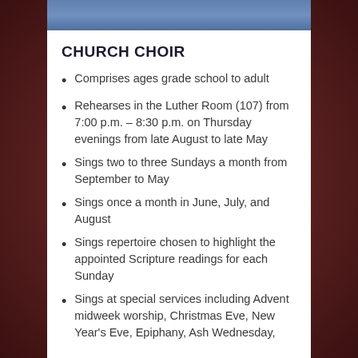[Figure (photo): Blue fabric or curtain photo strip at the top of the white card]
CHURCH CHOIR
Comprises ages grade school to adult
Rehearses in the Luther Room (107) from 7:00 p.m. – 8:30 p.m. on Thursday evenings from late August to late May
Sings two to three Sundays a month from September to May
Sings once a month in June, July, and August
Sings repertoire chosen to highlight the appointed Scripture readings for each Sunday
Sings at special services including Advent midweek worship, Christmas Eve, New Year's Eve, Epiphany, Ash Wednesday,